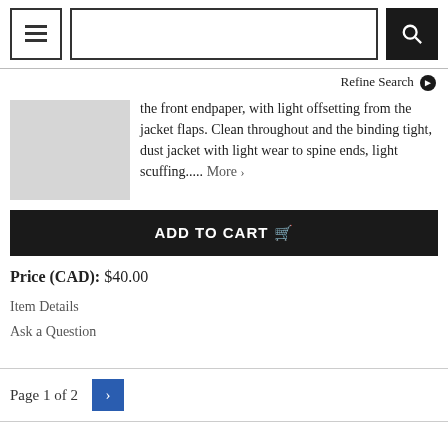[Figure (screenshot): Navigation header with hamburger menu, search input box, and search button]
Refine Search ❯
[Figure (photo): Gray placeholder thumbnail image of a book]
the front endpaper, with light offsetting from the jacket flaps. Clean throughout and the binding tight, dust jacket with light wear to spine ends, light scuffing..... More ›
ADD TO CART 🛒
Price (CAD): $40.00
Item Details
Ask a Question
Page 1 of 2